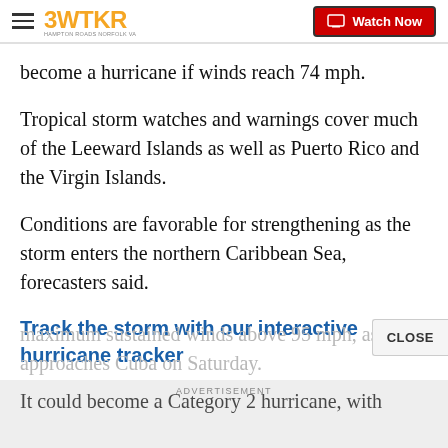3WTKR | Watch Now
become a hurricane if winds reach 74 mph.
Tropical storm watches and warnings cover much of the Leeward Islands as well as Puerto Rico and the Virgin Islands.
Conditions are favorable for strengthening as the storm enters the northern Caribbean Sea, forecasters said.
Track the storm with our interactive hurricane tracker
It could become a Category 2 hurricane, with maximum sustained winds above 95 mph, as it approaches Cuba on Saturday.